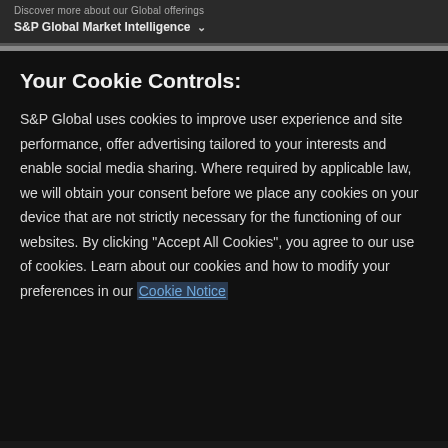Discover more about our Global offerings S&P Global Market Intelligence ▾
Your Cookie Controls:
S&P Global uses cookies to improve user experience and site performance, offer advertising tailored to your interests and enable social media sharing. Where required by applicable law, we will obtain your consent before we place any cookies on your device that are not strictly necessary for the functioning of our websites. By clicking "Accept All Cookies", you agree to our use of cookies. Learn about our cookies and how to modify your preferences in our Cookie Notice